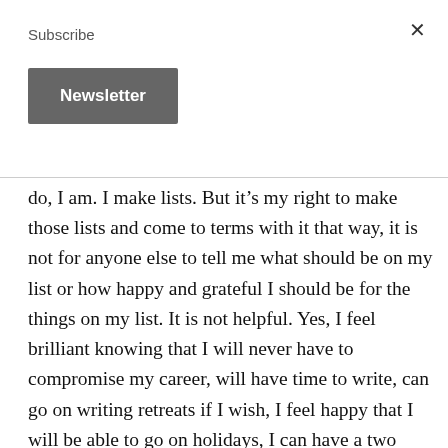Subscribe
Newsletter
do, I am. I make lists. But it’s my right to make those lists and come to terms with it that way, it is not for anyone else to tell me what should be on my list or how happy and grateful I should be for the things on my list. It is not helpful. Yes, I feel brilliant knowing that I will never have to compromise my career, will have time to write, can go on writing retreats if I wish, I feel happy that I will be able to go on holidays, I can have a two seater car if I want, I can have a one bedroom house if I want, I will never be puked on or shat on. I will never be embarrassed by a screaming child in a supermarket. I